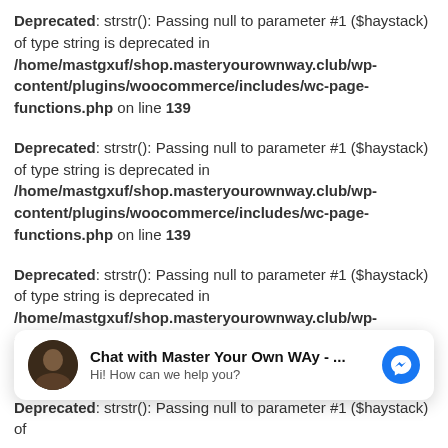Deprecated: strstr(): Passing null to parameter #1 ($haystack) of type string is deprecated in /home/mastgxuf/shop.masteryourownway.club/wp-content/plugins/woocommerce/includes/wc-page-functions.php on line 139
Deprecated: strstr(): Passing null to parameter #1 ($haystack) of type string is deprecated in /home/mastgxuf/shop.masteryourownway.club/wp-content/plugins/woocommerce/includes/wc-page-functions.php on line 139
Deprecated: strstr(): Passing null to parameter #1 ($haystack) of type string is deprecated in /home/mastgxuf/shop.masteryourownway.club/wp-content/plugins/woocommerce/includes/wc-page-functions.php on line 139
[Figure (screenshot): Facebook Messenger chat widget popup: avatar of a person, title 'Chat with Master Your Own WAy - ...', subtitle 'Hi! How can we help you?', and a blue Messenger icon on the right.]
Deprecated: strstr(): Passing null to parameter #1 ($haystack) of type string is deprecated in /home/mastgxuf/shop.masteryourownway.club/wp-content/plugins/woocommerce/includes/wc-page-functions.php on line 139